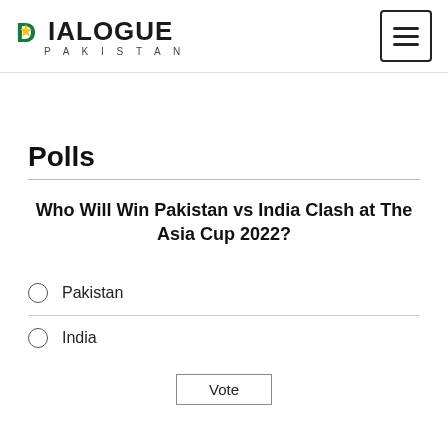DIALOGUE PAKISTAN
Polls
Who Will Win Pakistan vs India Clash at The Asia Cup 2022?
Pakistan
India
Vote